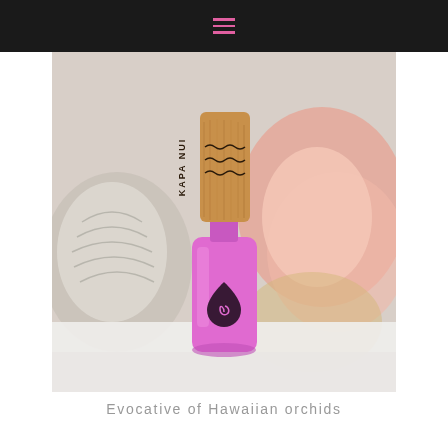≡
[Figure (photo): A pink nail polish bottle with a wooden cap labeled 'KAPA NUI' with wavy lettering, and a drop/spiral logo on the bottle, surrounded by seashells on a white surface with blurred background.]
Evocative of Hawaiian orchids